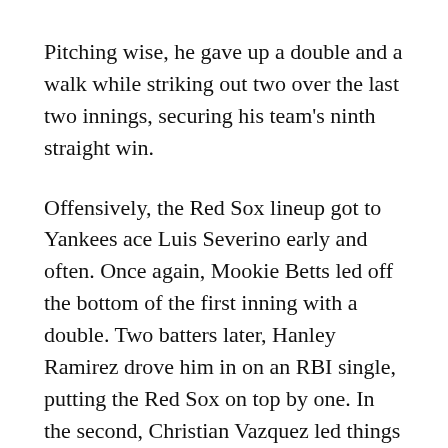Pitching wise, he gave up a double and a walk while striking out two over the last two innings, securing his team's ninth straight win.
Offensively, the Red Sox lineup got to Yankees ace Luis Severino early and often. Once again, Mookie Betts led off the bottom of the first inning with a double. Two batters later, Hanley Ramirez drove him in on an RBI single, putting the Red Sox on top by one. In the second, Christian Vazquez led things off with a single. Two batters later, Mookie Betts advances Vazquez to second on a single. With runners on first and second and one out, Andrew Benintendi cleared the bases on his first triple